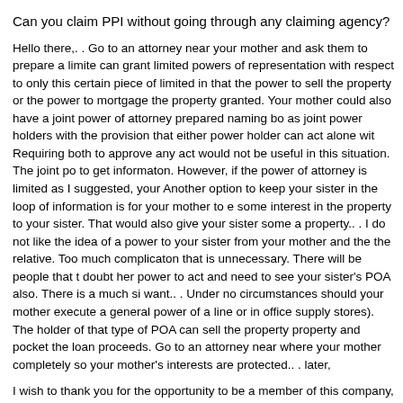Can you claim PPI without going through any claiming agency?
Hello there,. . Go to an attorney near your mother and ask them to prepare a limite can grant limited powers of representation with respect to only this certain piece of limited in that the power to sell the property or the power to mortgage the property granted. Your mother could also have a joint power of attorney prepared naming bo as joint power holders with the provision that either power holder can act alone wit Requiring both to approve any act would not be useful in this situation. The joint po to get informaton. However, if the power of attorney is limited as I suggested, your Another option to keep your sister in the loop of information is for your mother to e some interest in the property to your sister. That would also give your sister some a property.. . I do not like the idea of a power to your sister from your mother and the the relative. Too much complicaton that is unnecessary. There will be people that t doubt her power to act and need to see your sister's POA also. There is a much si want.. . Under no circumstances should your mother execute a general power of a line or in office supply stores). The holder of that type of POA can sell the property property and pocket the loan proceeds. Go to an attorney near where your mother completely so your mother's interests are protected.. . later,
I wish to thank you for the opportunity to be a member of this company, as I have l appreciate your time and effort in training me to become the best possible employe blank).. . I have learned, (fill in the blank,) and will recommend others to your fine and help, and I wish your company continued success in (fill in the blank).. . Respe
Any free professional resume builder online?
I have lived in the same area for over 20 years. Now out of the blue they place